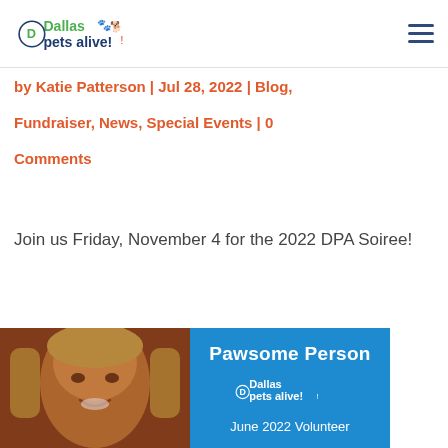Dallas Pets Alive! logo and navigation
by Katie Patterson | Jul 28, 2022 | Blog, Fundraiser, News, Special Events | 0 Comments
Join us Friday, November 4 for the 2022 DPA Soiree!
[Figure (photo): Left half: photo of a smiling blonde woman. Right half: blue panel with text 'Pawsome Person', Dallas Pets Alive! logo, and 'June 2022 Volunteer']